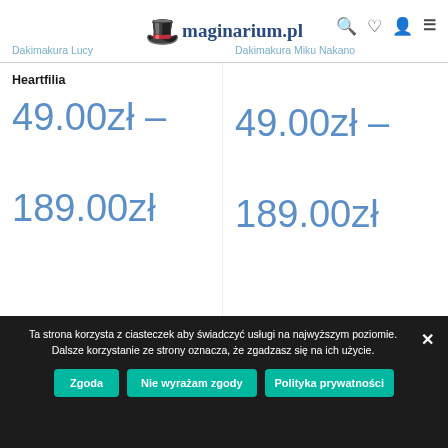maginarium.pl
Dakimakura Lucy
Dakimakura Miku Nakano
Heartfilia
49.00zł – 189.00zł
49.00zł – 189.00zł
We use cookies on our website to give you the most
Ta strona korzysta z ciasteczek aby świadczyć usługi na najwyższym poziomie. Dalsze korzystanie ze strony oznacza, że zgadzasz się na ich użycie.
Zgoda
Nie wyrażam zgody
Polityka prywatności